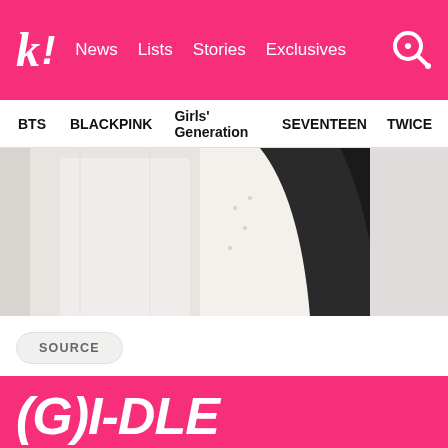k! News Lists Stories Exclusives
BTS BLACKPINK Girls' Generation SEVENTEEN TWICE
[Figure (photo): People wearing white clothing, partial view showing torsos and long dark hair]
SOURCE
(G)I-DLE
This Is What We Know About Where Former (G)I-DLE's Soojin Is Now
TWICE's Sana And (G)I-DLE's Miyeon Show Off Their Friendship With Matching Items